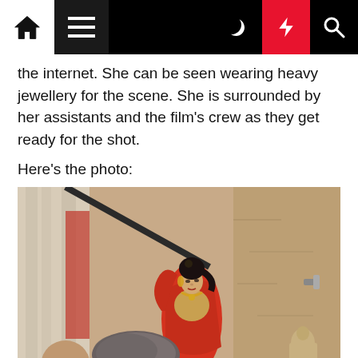Navigation bar with home, menu, moon, bolt, and search icons
the internet. She can be seen wearing heavy jewellery for the scene. She is surrounded by her assistants and the film's crew as they get ready for the shot.
Here's the photo:
[Figure (photo): A woman in a red traditional Indian outfit with heavy gold jewellery and a hair accessory, standing on what appears to be a film set with curtains and stone wall in the background. A boom microphone and film crew equipment are visible.]